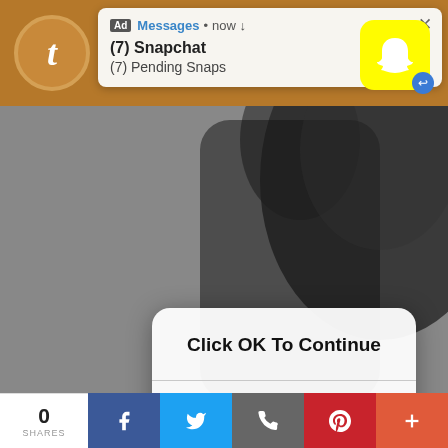[Figure (screenshot): Tumblr mobile app screenshot showing a Snapchat advertisement notification popup at the top, an iOS-style 'Click OK To Continue' dialog overlay, an anime figure background, post text 'Doodle requests I did during my stream today', hashtags '#Rat Girl #Chun Li #Sniffs #Noir #Doodles', and a social share bar at the bottom with 0 shares.]